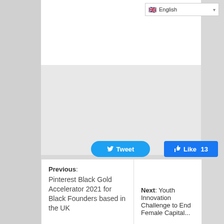[Figure (screenshot): Language selector dropdown showing English with UK flag]
[Figure (screenshot): Social share buttons: Tweet, Like 13, and LinkedIn Share]
Previous: Pinterest Black Gold Accelerator 2021 for Black Founders based in the UK
Next: Youth Innovation Challenge to End Female Capital...